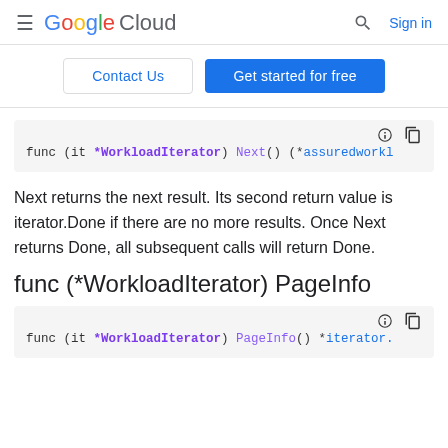Google Cloud  Sign in
Contact Us   Get started for free
[Figure (screenshot): Code block showing: func (it *WorkloadIterator) Next() (*assuredworkl]
Next returns the next result. Its second return value is iterator.Done if there are no more results. Once Next returns Done, all subsequent calls will return Done.
func (*WorkloadIterator) PageInfo
[Figure (screenshot): Code block showing: func (it *WorkloadIterator) PageInfo() *iterator.]